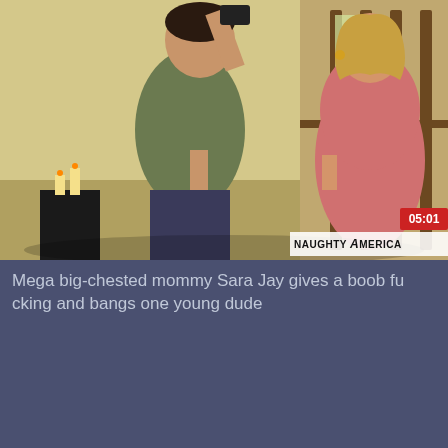[Figure (photo): Video thumbnail showing two people at a doorway, with a Naughty America watermark in the bottom right and a red duration badge showing 05:01]
Mega big-chested mommy Sara Jay gives a boob fucking and bangs one young dude